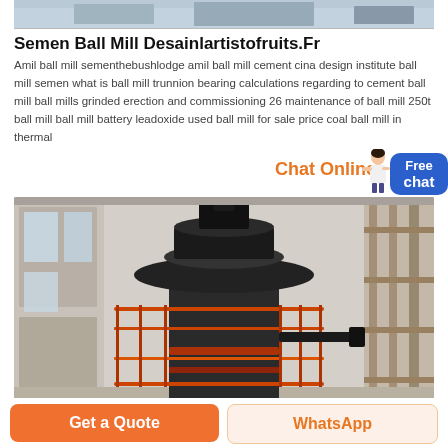[Figure (photo): Top portion of a factory/industrial hall interior, light colored, with equipment visible]
Semen Ball Mill Desainlartistofruits.Fr
Amil ball mill sementhebushlodge amil ball mill cement cina design institute ball mill semen what is ball mill trunnion bearing calculations regarding to cement ball mill ball mills grinded erection and commissioning 26 maintenance of ball mill 250t ball mill ball mill battery leadoxide used ball mill for sale price coal ball mill in thermal
[Figure (photo): Large industrial ball mill machine in a factory hall, dark gray cylindrical mill with orange safety rails and metal framework]
Chat Online
Free chat
Get a Quote
WhatsApp